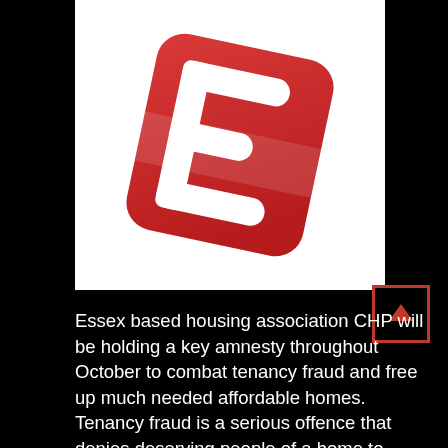[Figure (logo): Red rounded-square logo with a white stylized letter E, rotated slightly clockwise, on a white background. The logo is for Essex-based housing association CHP.]
[Figure (other): Small red-bordered square button with a red upward-pointing arrow, used as a scroll-to-top button.]
Essex based housing association CHP will be holding a key amnesty throughout October to combat tenancy fraud and free up much needed affordable homes. Tenancy fraud is a serious offence that denies deserving people of a home to